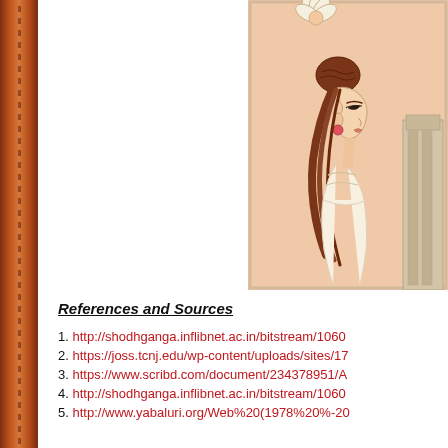[Figure (illustration): Indian classical figure illustration on peach/salmon background — a woman in profile with hair in a bun, wearing earrings, with a lotus flower above her head; another figure visible at right edge]
References and Sources
http://shodhganga.inflibnet.ac.in/bitstream/1060...
https://joss.tcnj.edu/wp-content/uploads/sites/17...
https://www.scribd.com/document/234378951/A...
http://shodhganga.inflibnet.ac.in/bitstream/1060...
http://www.yabaluri.org/Web%20(1978%20%-20...